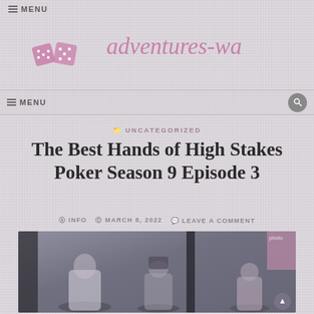≡ MENU
adventures-wa
≡ MENU
UNCATEGORIZED
The Best Hands of High Stakes Poker Season 9 Episode 3
INFO  MARCH 8, 2022  LEAVE A COMMENT
[Figure (photo): Photo of people sitting at a poker table, dimly lit scene with multiple figures visible]